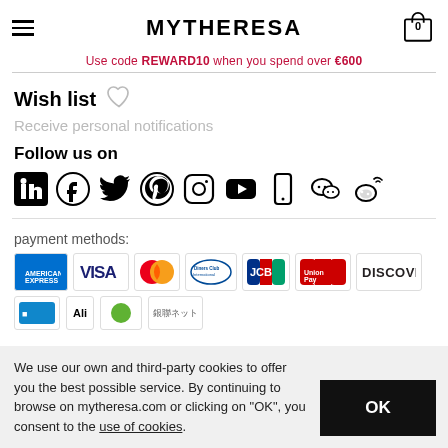MYTHERESA
Use code REWARD10 when you spend over €600
Wish list
Receive personal notifications
Follow us on
[Figure (illustration): Social media icons: LinkedIn, Facebook, Twitter, Pinterest, Instagram, YouTube, mobile/app, WeChat, Weibo]
payment methods:
[Figure (illustration): Payment method logos: American Express, VISA, Mastercard, Diners Club International, JCB, UnionPay, Discover, plus more logos partially visible]
We use our own and third-party cookies to offer you the best possible service. By continuing to browse on mytheresa.com or clicking on "OK", you consent to the use of cookies.